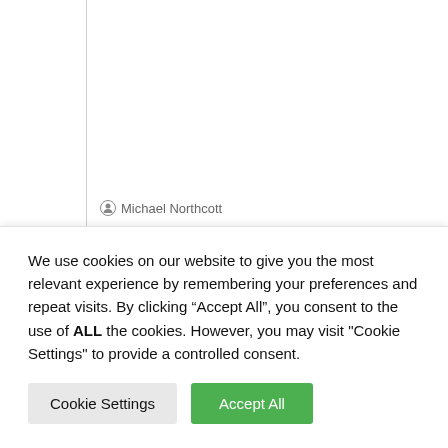Michael Northcott
Scarves for face-masks will be part of the government's post-pandemic
We use cookies on our website to give you the most relevant experience by remembering your preferences and repeat visits. By clicking “Accept All”, you consent to the use of ALL the cookies. However, you may visit "Cookie Settings" to provide a controlled consent.
Cookie Settings
Accept All